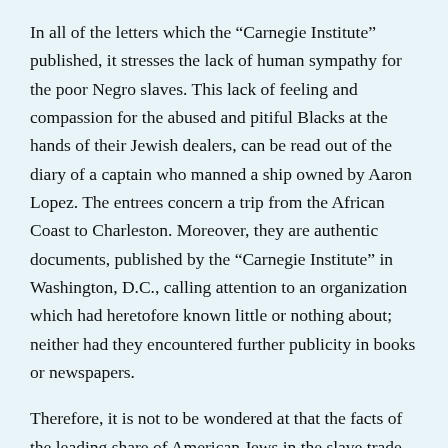In all of the letters which the “Carnegie Institute” published, it stresses the lack of human sympathy for the poor Negro slaves. This lack of feeling and compassion for the abused and pitiful Blacks at the hands of their Jewish dealers, can be read out of the diary of a captain who manned a ship owned by Aaron Lopez. The entrees concern a trip from the African Coast to Charleston. Moreover, they are authentic documents, published by the “Carnegie Institute” in Washington, D.C., calling attention to an organization which had heretofore known little or nothing about; neither had they encountered further publicity in books or newspapers.
Therefore, it is not to be wondered at that the facts of the leading share of American Jews in the slave trade could be pointed out as a monopoly, and unknown to the non-Jewish Americans, including the great masses of people all over the world. Others, however, acquainted with the facts, had good reason to remain painfully quiet.